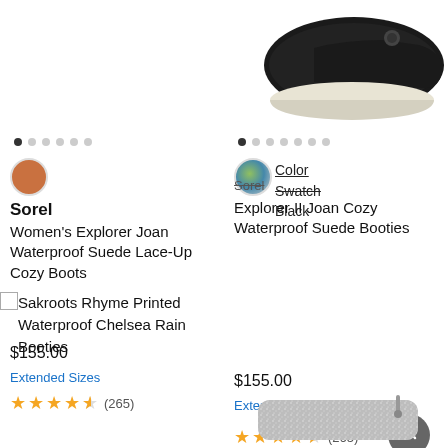[Figure (photo): Partial black Sorel shoe on white chunky sole, right column top]
• • • • • •  (dots left carousel)
• • • • • • •  (dots right carousel)
[Figure (photo): Color swatch circle - brown/copper left]
[Figure (photo): Color swatch circle - multicolor right with Color and Swatch labels]
Color
Swatch
Black
Sorel
Sorel
Women's Explorer Joan Waterproof Suede Lace-Up Cozy Boots
Explorer II Joan Cozy Waterproof Suede Booties
$155.00
$155.00
Extended Sizes
Extended Sizes
★★★★★ (265)
★★★★★ (265)
[Figure (photo): Sakroots Rhyme Printed Waterproof Chelsea Rain Booties product image (broken/alt text shown)]
Sakroots Rhyme Printed Waterproof Chelsea Rain Booties
[Figure (photo): Partial glittery/metallic bootie at bottom right]